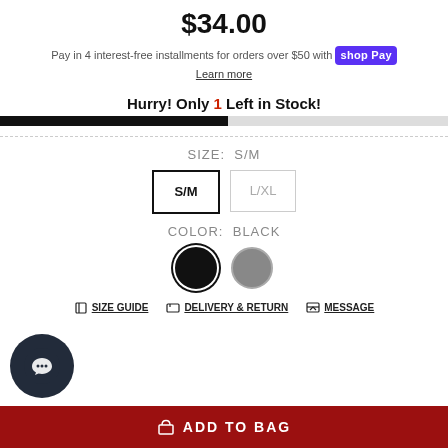$34.00
Pay in 4 interest-free installments for orders over $50 with Shop Pay
Learn more
Hurry! Only 1 Left in Stock!
SIZE: S/M
S/M | L/XL
COLOR: BLACK
SIZE GUIDE | DELIVERY & RETURN | MESSAGE
ADD TO BAG